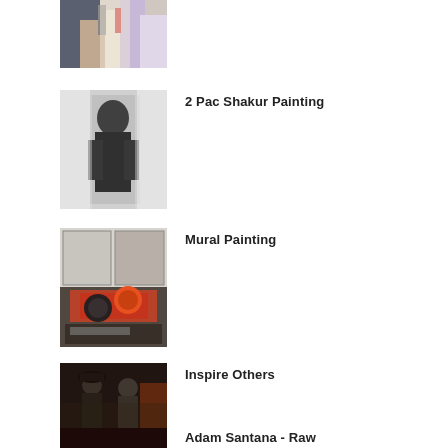[Figure (photo): Partial top of a colorful painting/artwork with mixed colors, cropped at top of page]
[Figure (photo): Black and white painting of 2Pac Shakur]
2 Pac Shakur Painting
[Figure (photo): Collage of mural painting images with RADIO sign and artwork]
Mural Painting
[Figure (photo): Two people standing at an event, one in a hat]
Inspire Others
[Figure (photo): Dark image at bottom, partially cut off]
Adam Santana - Raw